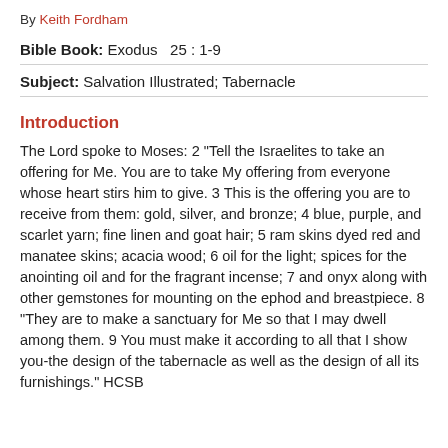By Keith Fordham
Bible Book: Exodus  25 : 1-9
Subject: Salvation Illustrated; Tabernacle
Introduction
The Lord spoke to Moses: 2 "Tell the Israelites to take an offering for Me. You are to take My offering from everyone whose heart stirs him to give. 3 This is the offering you are to receive from them: gold, silver, and bronze; 4 blue, purple, and scarlet yarn; fine linen and goat hair; 5 ram skins dyed red and manatee skins; acacia wood; 6 oil for the light; spices for the anointing oil and for the fragrant incense; 7 and onyx along with other gemstones for mounting on the ephod and breastpiece. 8 "They are to make a sanctuary for Me so that I may dwell among them. 9 You must make it according to all that I show you-the design of the tabernacle as well as the design of all its furnishings." HCSB